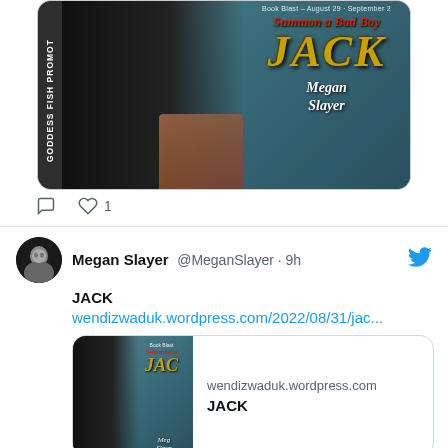[Figure (photo): Book cover for 'JACK' by Megan Slayer — Summon a Bad Boy series, Book Blast August 29 - September 2, with Goddess Fish Promotions sidebar, featuring a tattooed man in black shirt against a teal background with large gold lettering 'JACK' and red italic 'Summon a Bad Boy' text]
♡ 1
Megan Slayer @MeganSlayer · 9h
JACK
wendizwaduk.wordpress.com/2022/08/31/jac...
[Figure (screenshot): Link preview card for wendizwaduk.wordpress.com showing thumbnail of JACK book cover and text 'wendizwaduk.wordpress.com' and 'JACK']
wendizwaduk.wordpress.com
JACK